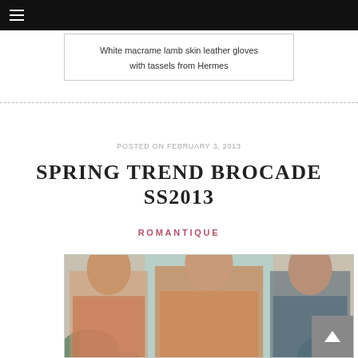White macrame lamb skin leather gloves with tassels from Hermes
POSTED ON FEBRUARY 3, 2013
SPRING TREND BROCADE SS2013
ROMANTIQUE
[Figure (photo): Fashion editorial photo showing three female models wearing brocade print clothing. Text overlay in top left reads: S/S '13 PRINT TREND : BROCADE]